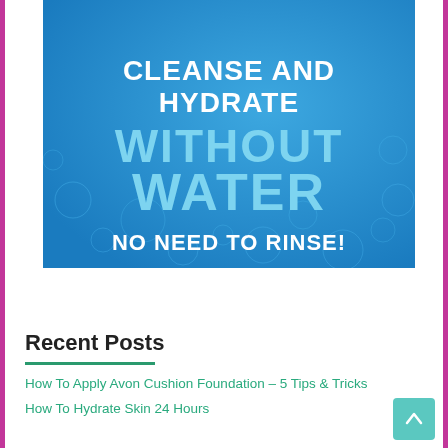[Figure (infographic): Blue background with water droplets texture. White and light blue text reads: 'CLEANSE AND HYDRATE WITHOUT WATER NO NEED TO RINSE!']
Recent Posts
How To Apply Avon Cushion Foundation – 5 Tips & Tricks
How To Hydrate Skin 24 Hours